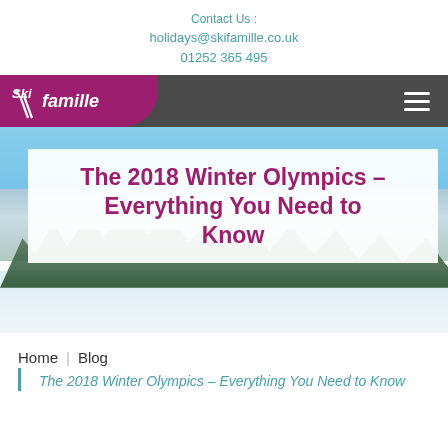Contact Us :
holidays@skifamille.co.uk
01252 365 495
[Figure (screenshot): Ski Famille logo on dark navigation bar with hamburger menu icon]
[Figure (photo): Winter alpine scene with blue sky, snow-covered trees and ski slope]
The 2018 Winter Olympics – Everything You Need to Know
Home | Blog
The 2018 Winter Olympics – Everything You Need to Know